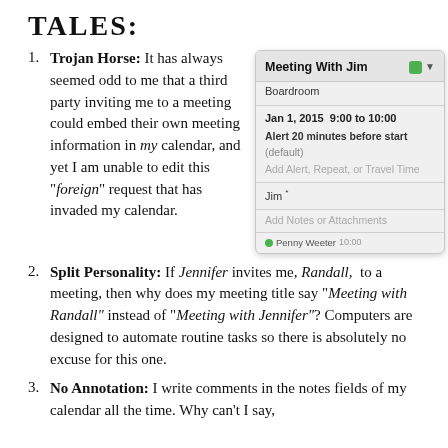TALES:
Trojan Horse: It has always seemed odd to me that a third party inviting me to a meeting could embed their own meeting information in my calendar, and yet I am unable to edit this "foreign" request that has invaded my calendar.
[Figure (screenshot): Calendar popup showing 'Meeting With Jim' event in Boardroom on Jan 1, 2015 9:00 to 10:00, with alert 20 minutes before start, attendee Jim, and Add Notes or Attachments section. Partially visible entry 'Penny Weeter 10:00' below.]
Split Personality: If Jennifer invites me, Randall, to a meeting, then why does my meeting title say "Meeting with Randall" instead of "Meeting with Jennifer"? Computers are designed to automate routine tasks so there is absolutely no excuse for this one.
No Annotation: I write comments in the notes fields of my calendar all the time. Why can't I say,